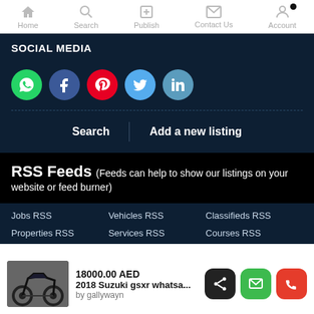Home | Search | Publish | Contact Us | Account
SOCIAL MEDIA
[Figure (infographic): Row of five social media icon circles: WhatsApp (green), Facebook (dark blue), Pinterest (red), Twitter (light blue), LinkedIn (teal)]
Search | Add a new listing
RSS Feeds (Feeds can help to show our listings on your website or feed burner)
Jobs RSS
Vehicles RSS
Classifieds RSS
Properties RSS
Services RSS
Courses RSS
18000.00 AED
2018 Suzuki gsxr whatsa...
by gallywayn